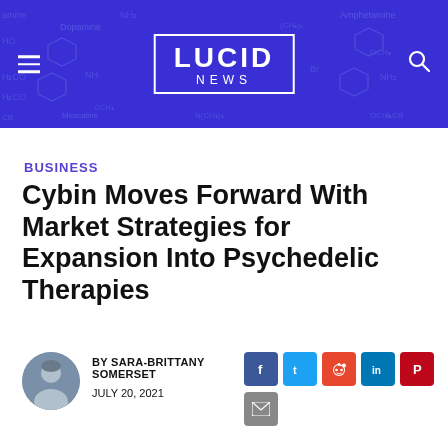LUCID NEWS
BUSINESS
Cybin Moves Forward With Market Strategies for Expansion Into Psychedelic Therapies
BY SARA-BRITTANY SOMERSET
JULY 20, 2021